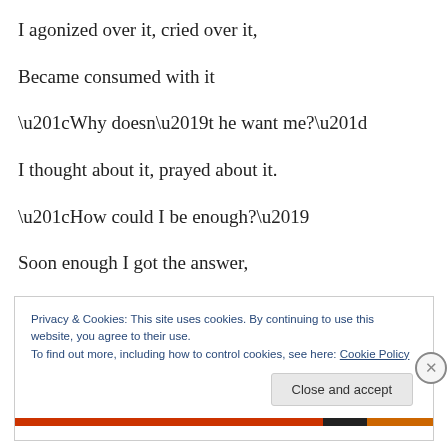I agonized over it, cried over it,
Became consumed with it
“Why doesn’t he want me?”
I thought about it, prayed about it.
“How could I be enough?’
Soon enough I got the answer,
Privacy & Cookies: This site uses cookies. By continuing to use this website, you agree to their use.
To find out more, including how to control cookies, see here: Cookie Policy
Close and accept